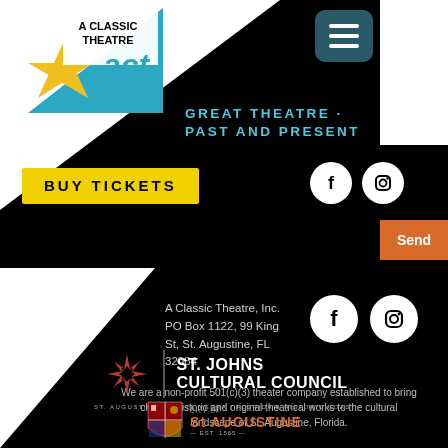[Figure (logo): A Classic Theatre ACT logo with cyan triangle and yellow star]
[Figure (other): Hamburger menu button (dark teal rounded square with three white lines)]
GREAT THEATRE · PAST AND PRESENT
BUY TICKETS
[Figure (logo): Facebook and Instagram social media icons (white circles on black)]
Send
A Classic Theatre, Inc.
PO Box 1122, 99 King St, St. Augustine, FL 32084
[Figure (logo): Facebook and Instagram social media icons (white circles)]
We are a non-profit 501(c)(3) theater company established to bring classic, historic and original theatrical works to the cultural landscape of St. Augustine, Florida.
[Figure (logo): St. Johns Cultural Council logo with red asterisk/snowflake pattern]
[Figure (logo): City of St. Augustine shield/crest logo with EST. 1565]